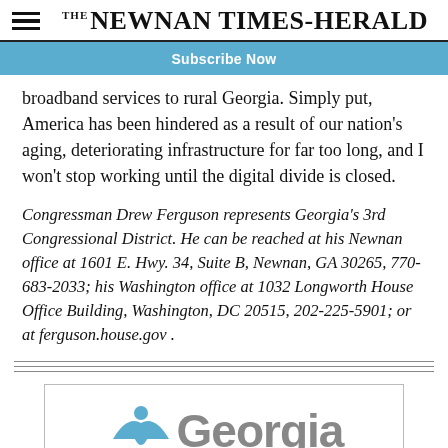THE NEWNAN TIMES-HERALD
Subscribe Now
broadband services to rural Georgia. Simply put, America has been hindered as a result of our nation's aging, deteriorating infrastructure for far too long, and I won't stop working until the digital divide is closed.
Congressman Drew Ferguson represents Georgia's 3rd Congressional District. He can be reached at his Newnan office at 1601 E. Hwy. 34, Suite B, Newnan, GA 30265, 770-683-2033; his Washington office at 1032 Longworth House Office Building, Washington, DC 20515, 202-225-5901; or at ferguson.house.gov .
[Figure (logo): Georgia state logo with stylized figure icon and 'Georgia' text in gray]